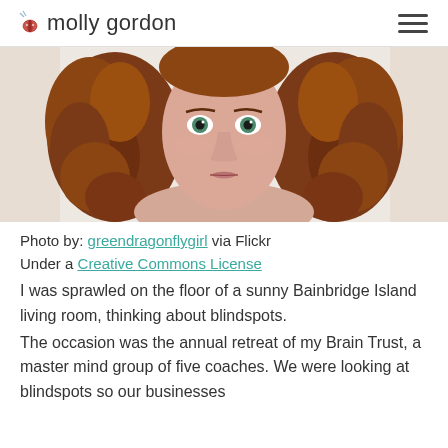molly gordon
[Figure (photo): Close-up portrait of a woman with curly reddish-brown hair and green eyes, looking directly at the camera against a light background.]
Photo by: greendragonflygirl via Flickr Under a Creative Commons License
I was sprawled on the floor of a sunny Bainbridge Island living room, thinking about blindspots.
The occasion was the annual retreat of my Brain Trust, a master mind group of five coaches. We were looking at blindspots so our businesses